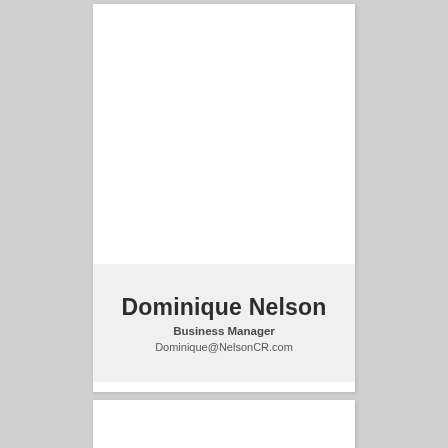Dominique Nelson
Business Manager
Dominique@NelsonCR.com